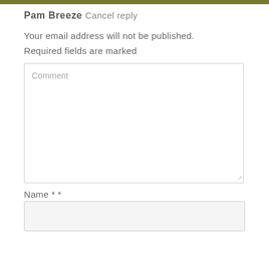Pam Breeze Cancel reply
Your email address will not be published. Required fields are marked
Comment
Name * *